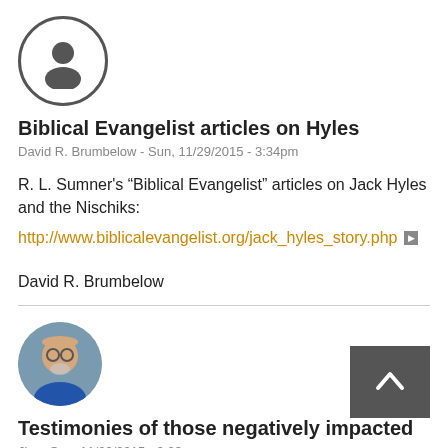[Figure (illustration): Generic user avatar icon — dark circle outline with person silhouette]
Biblical Evangelist articles on Hyles
David R. Brumbelow - Sun, 11/29/2015 - 3:34pm
R. L. Sumner’s “Biblical Evangelist” articles on Jack Hyles and the Nischiks:
http://www.biblicalevangelist.org/jack_hyles_story.php
David R. Brumbelow
[Figure (photo): Profile photo of an older man with glasses and a blue shirt]
Testimonies of those negatively impacted
Jim - Sun, 11/29/2015 - 9:03pm